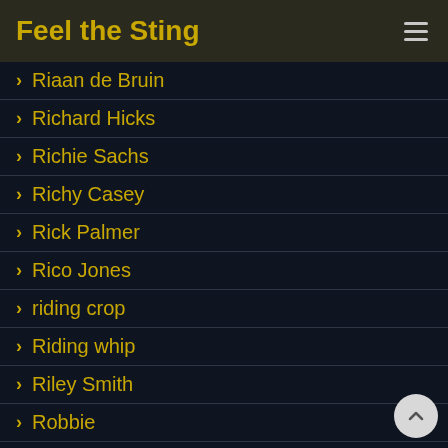Feel the Sting
> Riaan de Bruin
> Richard Hicks
> Richie Sachs
> Richy Casey
> Rick Palmer
> Rico Jones
> riding crop
> Riding whip
> Riley Smith
> Robbie
> Robbie Kasl